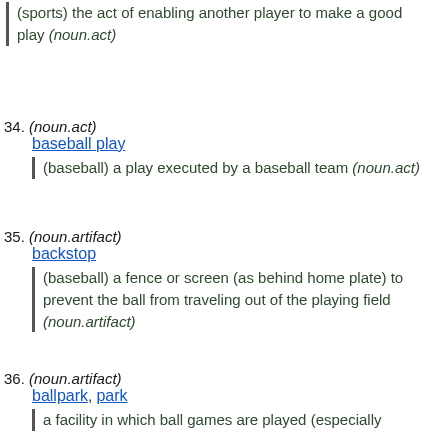(sports) the act of enabling another player to make a good play (noun.act)
34. (noun.act) baseball play — (baseball) a play executed by a baseball team (noun.act)
35. (noun.artifact) backstop — (baseball) a fence or screen (as behind home plate) to prevent the ball from traveling out of the playing field (noun.artifact)
36. (noun.artifact) ballpark, park — a facility in which ball games are played (especially